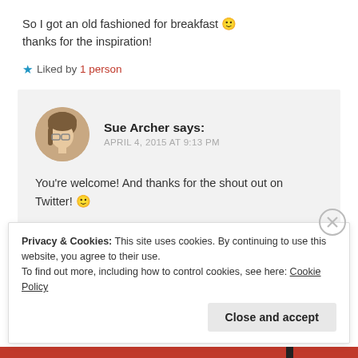So I got an old fashioned for breakfast 🙂 thanks for the inspiration!
★ Liked by 1 person
Sue Archer says: APRIL 4, 2015 AT 9:13 PM
You're welcome! And thanks for the shout out on Twitter! 🙂
★ Liked by 1 person
Privacy & Cookies: This site uses cookies. By continuing to use this website, you agree to their use. To find out more, including how to control cookies, see here: Cookie Policy
Close and accept